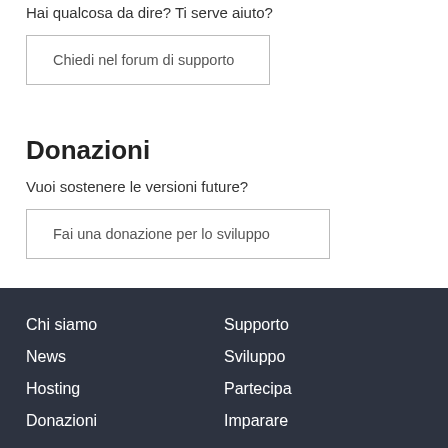Hai qualcosa da dire? Ti serve aiuto?
Chiedi nel forum di supporto
Donazioni
Vuoi sostenere le versioni future?
Fai una donazione per lo sviluppo
Chi siamo | News | Hosting | Donazioni | Supporto | Sviluppo | Partecipa | Imparare